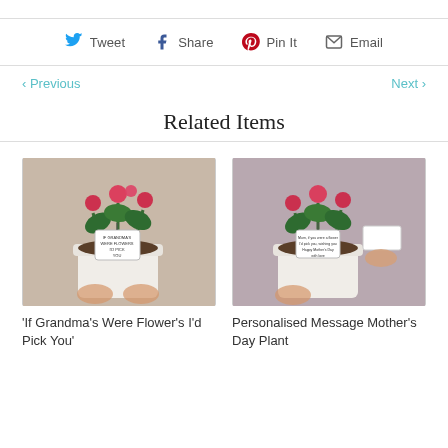Tweet  Share  Pin It  Email
< Previous    Next >
Related Items
[Figure (photo): Photo of a white pot with red cyclamen flowers and a handwritten message tag reading 'If Grandma's Were Flowers I'd Pick You']
'If Grandma's Were Flower's I'd Pick You'
[Figure (photo): Photo of a white pot with red cyclamen flowers and a hand holding a small message card for Mother's Day]
Personalised Message Mother's Day Plant